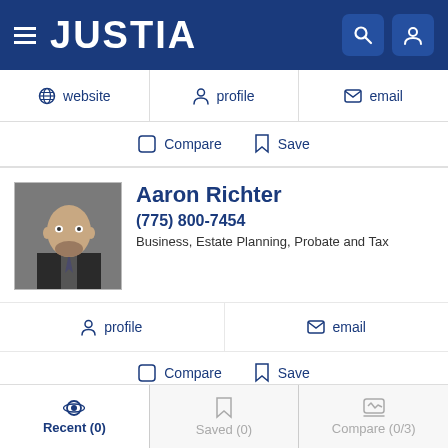JUSTIA
website  profile  email
Compare  Save
Aaron Richter
(775) 800-7454
Business, Estate Planning, Probate and Tax
profile  email
Compare  Save
SPONSORED LISTINGS
Recent (0)  Saved (0)  Compare (0/3)